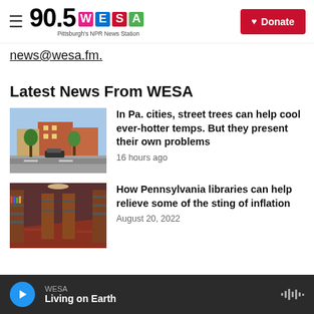90.5 WESA — Pittsburgh's NPR News Station | Donate
news@wesa.fm.
Latest News From WESA
[Figure (photo): Street scene with trees, parked cars, and brick buildings in a Pennsylvania city]
In Pa. cities, street trees can help cool ever-hotter temps. But they present their own problems
16 hours ago
[Figure (photo): Interior of a public library with book shelves and aisles]
How Pennsylvania libraries can help relieve some of the sting of inflation
August 20, 2022
WESA — Living on Earth (player bar)